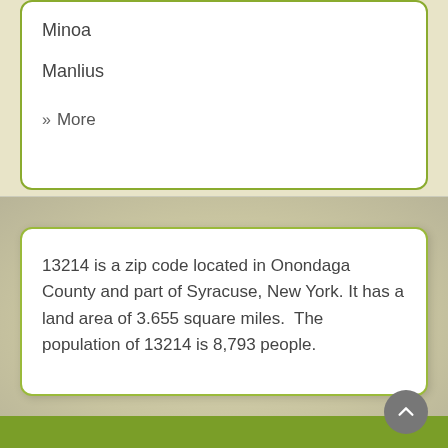Minoa
Manlius
» More
13214 is a zip code located in Onondaga County and part of Syracuse, New York. It has a land area of 3.655 square miles.  The population of 13214 is 8,793 people.